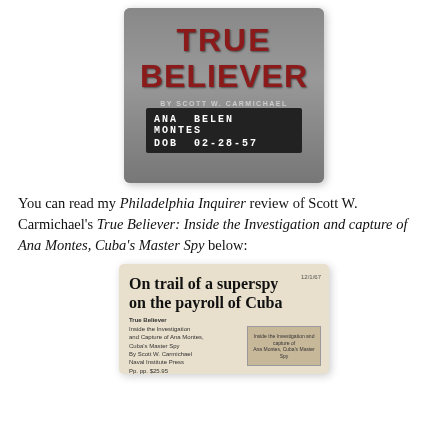[Figure (photo): Book cover of 'True Believer' by Scott W. Carmichael, showing a black and white photo of Ana Belen Montes with her name and date of birth on a booking board: ANA BELEN MONTES, DOB 02-28-57]
You can read my Philadelphia Inquirer review of Scott W. Carmichael's True Believer: Inside the Investigation and capture of Ana Montes, Cuba's Master Spy below:
[Figure (photo): Newspaper clipping from the Philadelphia Inquirer with headline 'On trail of a superspy on the payroll of Cuba' dated 12/1/67, with subtext about True Believer by Scott W. Carmichael, Naval Institute Press, and a photo caption area reading 'Inside the Investigation and capture of Ana Montes, Cuba's Master Spy']